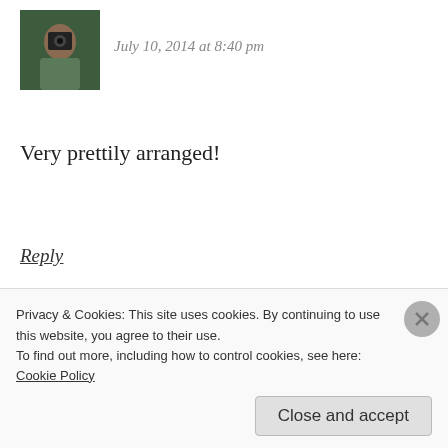[Figure (photo): Small avatar image of a person with a camera, outdoors with green foliage background]
July 10, 2014 at 8:40 pm
Very prettily arranged!
Reply
[Figure (other): Row of black bullet dots as a section divider]
[Figure (photo): Avatar image of Marianne, colorful portrait with yellow hair and sunglasses]
Marianne
July 10, 2014 at 8:56 pm
Privacy & Cookies: This site uses cookies. By continuing to use this website, you agree to their use.
To find out more, including how to control cookies, see here: Cookie Policy
Close and accept